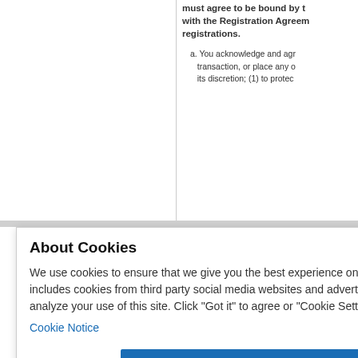must agree to be bound by the with the Registration Agreement registrations.
a. You acknowledge and agree transaction, or place any c its discretion; (1) to protect
requi l or c ees; strar i ck, h
n the to ti and c reen
o pro Unifo anize
ately nclu
d by perio Regis g to
About Cookies
We use cookies to ensure that we give you the best experience on our website. This includes cookies from third party social media websites and advertising cookies that may analyze your use of this site. Click "Got it" to agree or "Cookie Settings" to opt out.
Cookie Notice
Got It
Cookies Settings